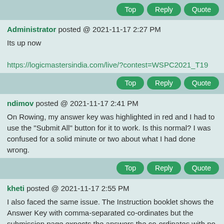Top   Reply   Quote
Administrator posted @ 2021-11-17 2:27 PM
Its up now
https://logicmastersindia.com/live/?contest=WSPC2021_T19
Top   Reply   Quote
ndimov posted @ 2021-11-17 2:41 PM
On Rowing, my answer key was highlighted in red and I had to use the "Submit All" button for it to work. Is this normal? I was confused for a solid minute or two about what I had done wrong.
Top   Reply   Quote
kheti posted @ 2021-11-17 2:55 PM
I also faced the same issue. The Instruction booklet shows the Answer Key with comma-separated co-ordinates but the submission page expects the answers the co-ordinates with no spaces or any other separators. That's what was causing the